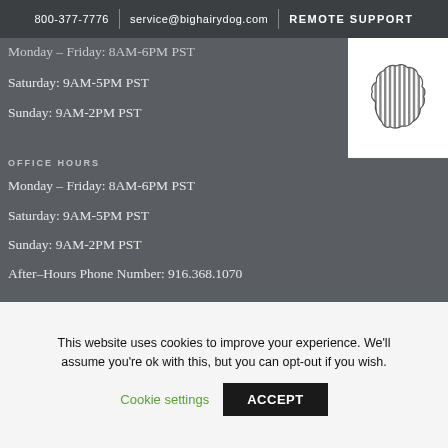800-377-7776 | service@bighairydog.com | REMOTE SUPPORT
Monday – Friday: 8AM-6PM PST
Saturday: 9AM-5PM PST
Sunday: 9AM-2PM PST
[Figure (logo): Big Hairy Dog logo — striped dog silhouette on white background]
OFFICE HOURS
Monday – Friday: 8AM-6PM PST
Saturday: 9AM-5PM PST
Sunday: 9AM-2PM PST
After–Hours Phone Number: 916.368.1070
JOBS
We are always looking for talent!
This website uses cookies to improve your experience. We'll assume you're ok with this, but you can opt-out if you wish.
Cookie settings    ACCEPT